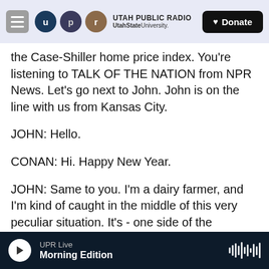UTAH PUBLIC RADIO | UtahStateUniversity. | Donate
the Case-Shiller home price index. You're listening to TALK OF THE NATION from NPR News. Let's go next to John. John is on the line with us from Kansas City.
JOHN: Hello.
CONAN: Hi. Happy New Year.
JOHN: Same to you. I'm a dairy farmer, and I'm kind of caught in the middle of this very peculiar situation. It's - one side of the argument is that we're going to go back to permanent pricing, and milk is going to go to $48 a 100 or end up being $8 a
UPR Live | Morning Edition